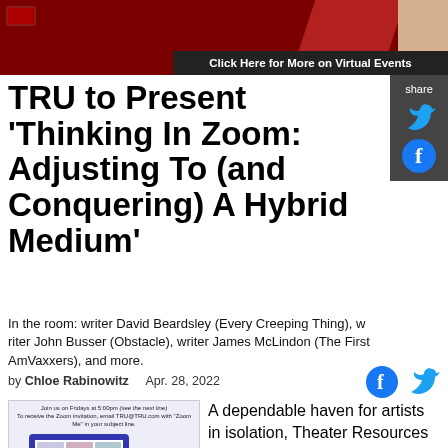[Figure (photo): Dark red banner with diagonal red accent and text overlay saying 'Click Here for More on Virtual Events']
TRU to Present 'Thinking In Zoom: Adjusting To (and Conquering) A Hybrid Medium'
In the room: writer David Beardsley (Every Creeping Thing), writer John Busser (Obstacle), writer James McLindon (The First Am Vaxxers), and more.
by Chloe Rabinowitz    Apr. 28, 2022
[Figure (infographic): TRU Community Gathering promo image showing a monitor with video call participants and a phone, with text 'Join us on Fridays at 5:00pm' and TRU community gathering logo]
A dependable haven for artists in isolation, Theater Resources Unlimited (TRU) is now into its second year of non-stop weekly Community Gatherings this Friday